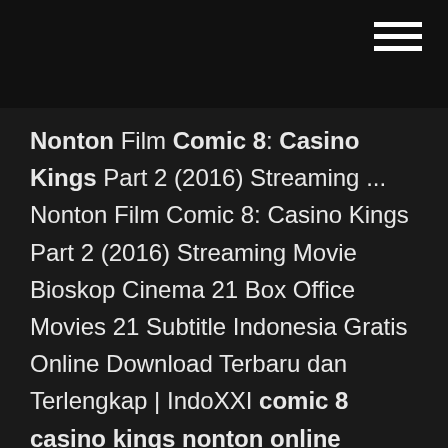Nonton Film Comic 8: Casino Kings Part 2 (2016) Streaming ... Nonton Film Comic 8: Casino Kings Part 2 (2016) Streaming Movie Bioskop Cinema 21 Box Office Movies 21 Subtitle Indonesia Gratis Online Download Terbaru dan Terlengkap | IndoXXI comic 8 casino kings nonton online Archives - Agen Casino ... Posted in casino Tagged agen casino online, agen casino online terpercaya, bandar casino online, best online casino, casino games online, casino king comic 8 nonton online, casino king part 2 nonton online, casino live online asia, casino online, casino online android, casino online asia, casino online bonus no deposit, casino online indonesia ... Nonton Movie Film Comic 8: Casino Kings - Kumpulan Berita ... Nonton Movie Film Comic 8: Casino Kings - Comic 8: Casino Kings adalah Film aksi-